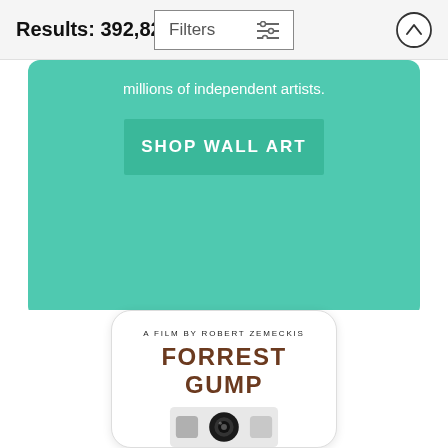Results: 392,821
Filters
millions of independent artists.
SHOP WALL ART
[Figure (screenshot): Phone case product showing a Forrest Gump movie poster design with text 'A FILM BY ROBERT ZEMECKIS' and 'FORREST GUMP' with a phone camera cutout area visible]
A FILM BY ROBERT ZEMECKIS
FORREST GUMP